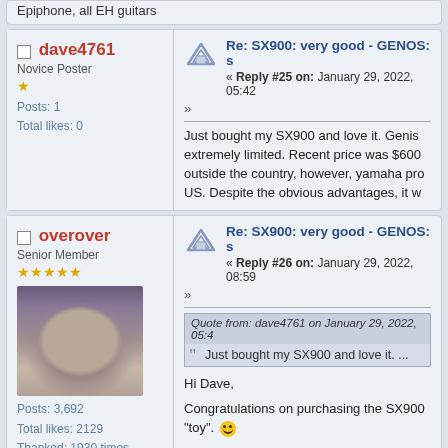Epiphone, all EH guitars
dave4761 - Novice Poster - Posts: 1 - Total likes: 0
Re: SX900: very good - GENOS: s « Reply #25 on: January 29, 2022, 05:42 »
Just bought my SX900 and love it. Genis extremely limited. Recent price was $600 outside the country, however, yamaha pro US. Despite the obvious advantages, it w
overover - Senior Member - Posts: 3,692 - Total likes: 2129 - Thanked: 1930 times
Re: SX900: very good - GENOS: s « Reply #26 on: January 29, 2022, 08:59 »
Quote from: dave4761 on January 29, 2022, 05:4
Just bought my SX900 and love it. ...
Hi Dave,
Congratulations on purchasing the SX900 "toy".